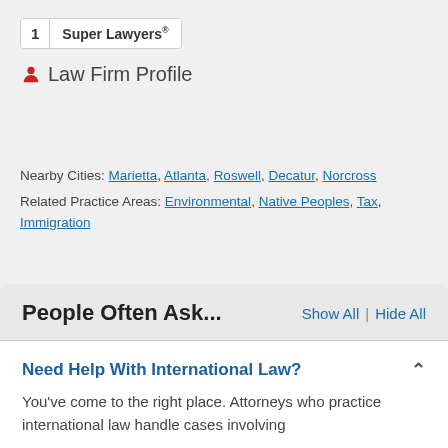[Figure (logo): Badge showing '1 Super Lawyers' with number box and text]
Law Firm Profile
Nearby Cities: Marietta, Atlanta, Roswell, Decatur, Norcross
Related Practice Areas: Environmental, Native Peoples, Tax, Immigration
People Often Ask...
Need Help With International Law?
You've come to the right place. Attorneys who practice international law handle cases involving